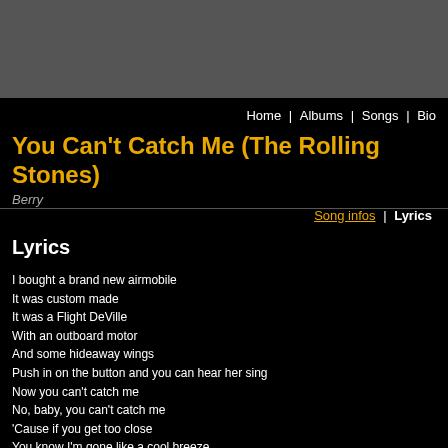[Figure (other): Gray header banner at top of page]
Home | Albums | Songs | Bio
You Can't Catch Me (The Rolling Stones)
Berry
Song infos | Lyrics
Lyrics
I bought a brand new airmobile
It was custom made
It was a Flight DeVille
With an outboard motor
And some hideaway wings
Push in on the button and you can hear her sing
Now you can't catch me
No, baby, you can't catch me
'Cause if you get too close
You know I'm gone like a cool breeze

New Jersey Turnpike in the wee wee hours
I was rolling slowly 'cause of drizzlin' showers
Up come a flattop he was movin' up with me
Then come sailin' goodbye
In a little old suped up mini
I put my foot in my tank and I begin to roll
Moanin' sirens, was the state patrol